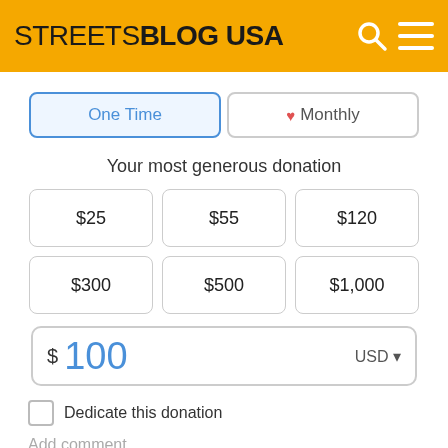STREETSBLOG USA
One Time
♥ Monthly
Your most generous donation
$25
$55
$120
$300
$500
$1,000
$ 100  USD
Dedicate this donation
Add comment
Donate and Support